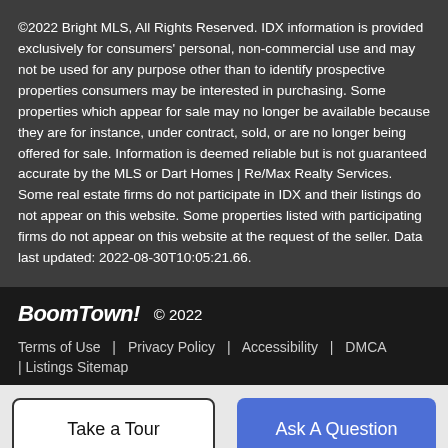©2022 Bright MLS, All Rights Reserved. IDX information is provided exclusively for consumers' personal, non-commercial use and may not be used for any purpose other than to identify prospective properties consumers may be interested in purchasing. Some properties which appear for sale may no longer be available because they are for instance, under contract, sold, or are no longer being offered for sale. Information is deemed reliable but is not guaranteed accurate by the MLS or Dart Homes | Re/Max Realty Services. Some real estate firms do not participate in IDX and their listings do not appear on this website. Some properties listed with participating firms do not appear on this website at the request of the seller. Data last updated: 2022-08-30T10:05:21.66.
BoomTown! © 2022 | Terms of Use | Privacy Policy | Accessibility | DMCA | Listings Sitemap